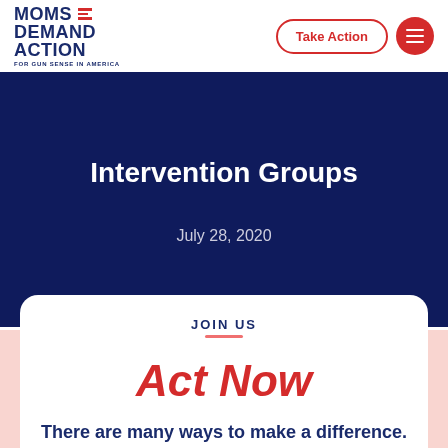[Figure (logo): Moms Demand Action for Gun Sense in America logo — dark blue stacked text with red horizontal lines accent]
Take Action
Intervention Groups
July 28, 2020
JOIN US
Act Now
There are many ways to make a difference.